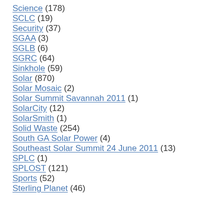Science (178)
SCLC (19)
Security (37)
SGAA (3)
SGLB (6)
SGRC (64)
Sinkhole (59)
Solar (870)
Solar Mosaic (2)
Solar Summit Savannah 2011 (1)
SolarCity (12)
SolarSmith (1)
Solid Waste (254)
South GA Solar Power (4)
Southeast Solar Summit 24 June 2011 (13)
SPLC (1)
SPLOST (121)
Sports (52)
Sterling Planet (46)